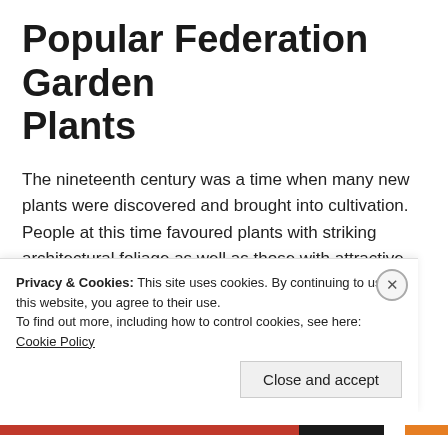Popular Federation Garden Plants
The nineteenth century was a time when many new plants were discovered and brought into cultivation. People at this time favoured plants with striking architectural foliage as well as those with attractive flowers.
Aspidistra Agapanthus, Buxus hedges, Fruit trees, Hellebores, Hydrangeas, Ivy,
Palms, Pelargoniums, Quince, Roses...
Privacy & Cookies: This site uses cookies. By continuing to use this website, you agree to their use.
To find out more, including how to control cookies, see here: Cookie Policy
Close and accept